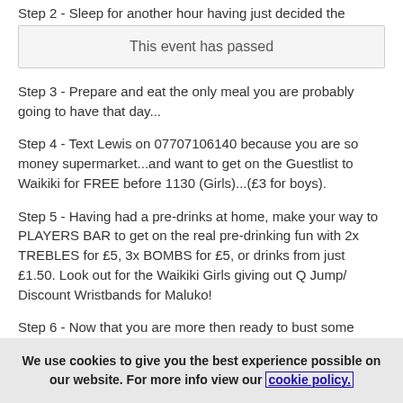Step 2 - Sleep for another hour having just decided the
This event has passed
Step 3 - Prepare and eat the only meal you are probably going to have that day...
Step 4 - Text Lewis on 07707106140 because you are so money supermarket...and want to get on the Guestlist to Waikiki for FREE before 1130 (Girls)...(£3 for boys).
Step 5 - Having had a pre-drinks at home, make your way to PLAYERS BAR to get on the real pre-drinking fun with 2x TREBLES for £5, 3x BOMBS for £5, or drinks from just £1.50. Look out for the Waikiki Girls giving out Q Jump/ Discount Wristbands for Maluko!
Step 6 - Now that you are more then ready to bust some crazy shapes on the dance floor, its time to move onto WAIKIKI in Maluko just 10 yards down the road!
We use cookies to give you the best experience possible on our website. For more info view our cookie policy.